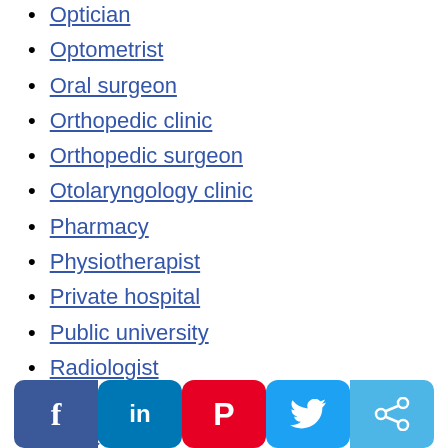Optician
Optometrist
Oral surgeon
Orthopedic clinic
Orthopedic surgeon
Otolaryngology clinic
Pharmacy
Physiotherapist
Private hospital
Public university
Radiologist
Specialized clinic
Speech therapist / Speech language pathologist
Sunglasses shop